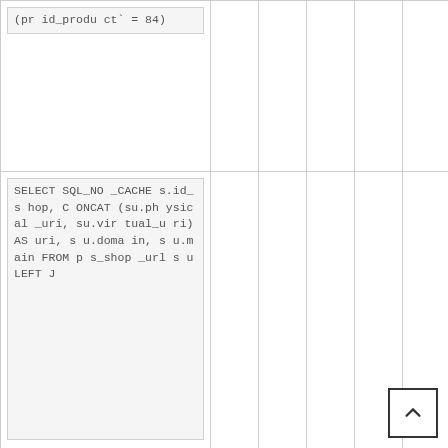| (pr id_product` = 84) |  |  |  |  |  |
| SELECT SQL_NO_CACHE s.id_shop, CONCAT(su.physical_uri, su.virtual_uri) AS uri, su.domain, su.main FROM ps_shop_url s u LEFT J |  |  |  |  |  |